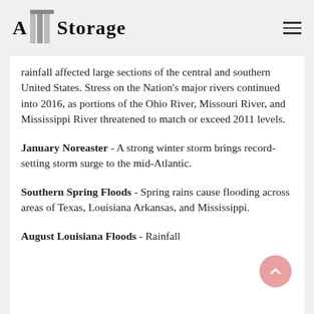A1 Storage
rainfall affected large sections of the central and southern United States. Stress on the Nation's major rivers continued into 2016, as portions of the Ohio River, Missouri River, and Mississippi River threatened to match or exceed 2011 levels.
January Noreaster - A strong winter storm brings record-setting storm surge to the mid-Atlantic.
Southern Spring Floods - Spring rains cause flooding across areas of Texas, Louisiana Arkansas, and Mississippi.
August Louisiana Floods - Rainfall